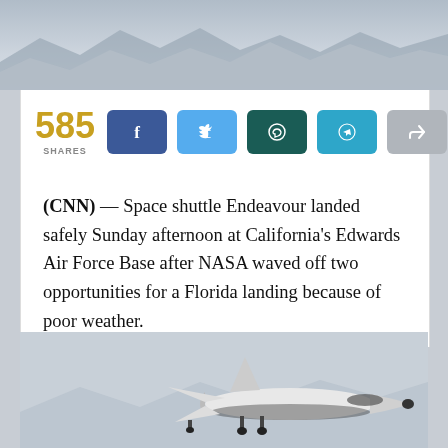[Figure (photo): Aerial/landscape photo showing mountain range silhouette with hazy sky]
585 SHARES
(CNN) — Space shuttle Endeavour landed safely Sunday afternoon at California's Edwards Air Force Base after NASA waved off two opportunities for a Florida landing because of poor weather.
[Figure (photo): Space shuttle Endeavour in flight against a grey sky with mountains in background, landing gear deployed]